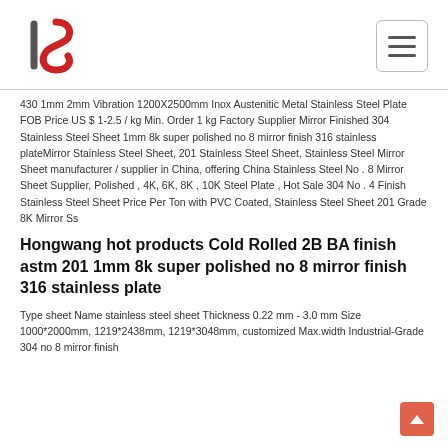Logo and navigation header
430 1mm 2mm Vibration 1200X2500mm Inox Austenitic Metal Stainless Steel Plate FOB Price US $ 1-2.5 / kg Min. Order 1 kg Factory Supplier Mirror Finished 304 Stainless Steel Sheet 1mm 8k super polished no 8 mirror finish 316 stainless plateMirror Stainless Steel Sheet, 201 Stainless Steel Sheet, Stainless Steel Mirror Sheet manufacturer / supplier in China, offering China Stainless Steel No . 8 Mirror Sheet Supplier, Polished , 4K, 6K, 8K , 10K Steel Plate , Hot Sale 304 No . 4 Finish Stainless Steel Sheet Price Per Ton with PVC Coated, Stainless Steel Sheet 201 Grade 8K Mirror Ss
Hongwang hot products Cold Rolled 2B BA finish astm 201 1mm 8k super polished no 8 mirror finish 316 stainless plate
Type sheet Name stainless steel sheet Thickness 0.22 mm - 3.0 mm Size 1000*2000mm, 1219*2438mm, 1219*3048mm, customized Max.width Industrial-Grade 304 no 8 mirror finish